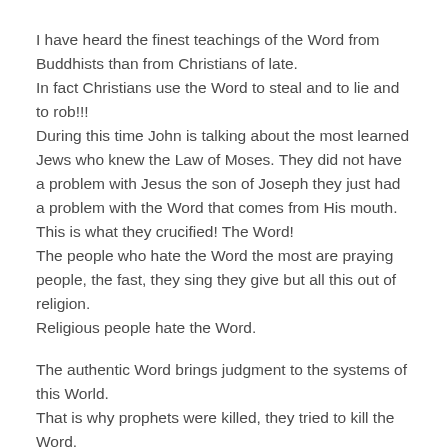I have heard the finest teachings of the Word from Buddhists than from Christians of late.
In fact Christians use the Word to steal and to lie and to rob!!!
During this time John is talking about the most learned Jews who knew the Law of Moses. They did not have a problem with Jesus the son of Joseph they just had a problem with the Word that comes from His mouth.
This is what they crucified! The Word!
The people who hate the Word the most are praying people, the fast, they sing they give but all this out of religion.
Religious people hate the Word.
The authentic Word brings judgment to the systems of this World.
That is why prophets were killed, they tried to kill the Word.
The Word comes with fire and burn all that which is not of God in the religious system.
Pastors hate one another because of the Word.
The...